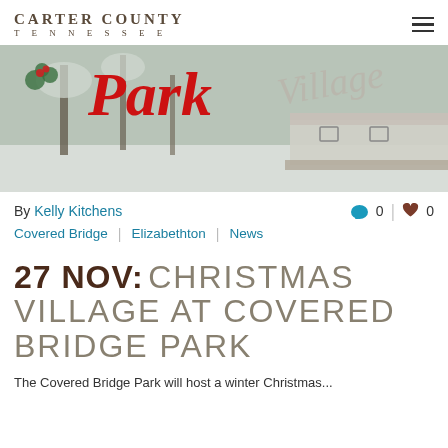CARTER COUNTY TENNESSEE
[Figure (photo): Winter snowy scene at a covered bridge park with red script text 'Park' overlaid in red italic font, decorated with holly leaves.]
By Kelly Kitchens
0  0
Covered Bridge | Elizabethton | News
27 NOV: CHRISTMAS VILLAGE AT COVERED BRIDGE PARK
The Covered Bridge Park will host a winter Christmas...